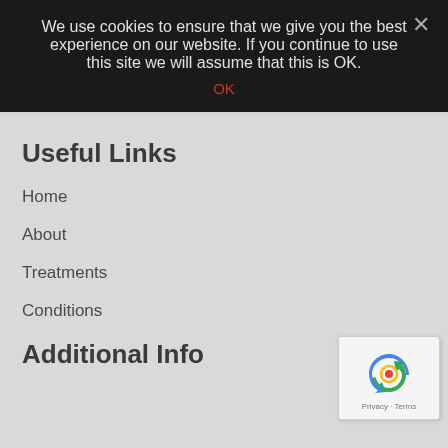We use cookies to ensure that we give you the best experience on our website. If you continue to use this site we will assume that this is OK.
OK
[Figure (logo): Council logo with arrow/chevron icon and text 'Council' in dark blue]
Useful Links
Home
About
Treatments
Conditions
Additional Info
[Figure (logo): reCAPTCHA widget with recycling arrow icon and Privacy · Terms text]